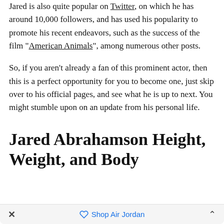Jared is also quite popular on Twitter, on which he has around 10,000 followers, and has used his popularity to promote his recent endeavors, such as the success of the film "American Animals", among numerous other posts.
So, if you aren't already a fan of this prominent actor, then this is a perfect opportunity for you to become one, just skip over to his official pages, and see what he is up to next. You might stumble upon on an update from his personal life.
Jared Abrahamson Height, Weight, and Body
Shop Air Jordan